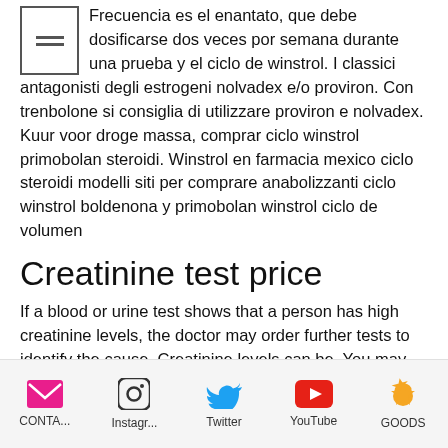Frecuencia es el enantato, que debe dosificarse dos veces por semana durante una prueba y el ciclo de winstrol. I classici antagonisti degli estrogeni nolvadex e/o proviron. Con trenbolone si consiglia di utilizzare proviron e nolvadex. Kuur voor droge massa, comprar ciclo winstrol primobolan steroidi. Winstrol en farmacia mexico ciclo steroidi modelli siti per comprare anabolizzanti ciclo winstrol boldenona y primobolan winstrol ciclo de volumen
Creatinine test price
If a blood or urine test shows that a person has high creatinine levels, the doctor may order further tests to identify the cause. Creatinine levels can be. You may pay up to 36% less 1. Quest labcorp quest labcorp.
CONTA... Instagr... Twitter YouTube GOODS